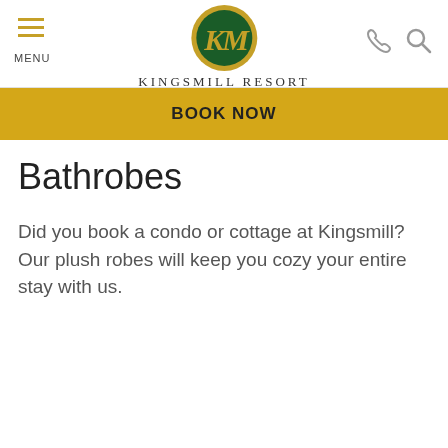MENU | KINGSMILL RESORT
[Figure (logo): Kingsmill Resort logo: green oval with gold K and M monogram, gold border, with text KINGSMILL RESORT below]
BOOK NOW
Bathrobes
Did you book a condo or cottage at Kingsmill? Our plush robes will keep you cozy your entire stay with us.